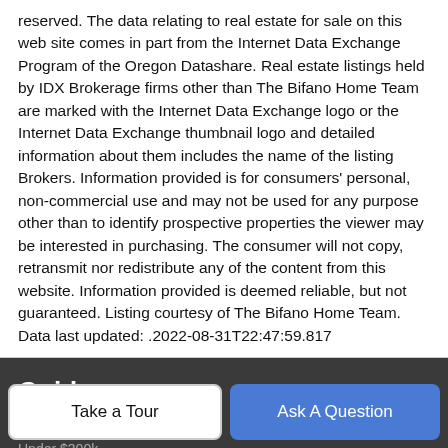reserved. The data relating to real estate for sale on this web site comes in part from the Internet Data Exchange Program of the Oregon Datashare. Real estate listings held by IDX Brokerage firms other than The Bifano Home Team are marked with the Internet Data Exchange logo or the Internet Data Exchange thumbnail logo and detailed information about them includes the name of the listing Brokers. Information provided is for consumers' personal, non-commercial use and may not be used for any purpose other than to identify prospective properties the viewer may be interested in purchasing. The consumer will not copy, retransmit nor redistribute any of the content from this website. Information provided is deemed reliable, but not guaranteed. Listing courtesy of The Bifano Home Team. Data last updated: .2022-08-31T22:47:59.817
Guides
Under $200k
Under $300k